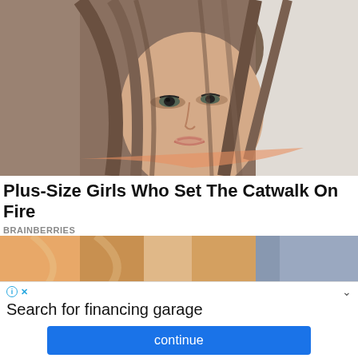[Figure (photo): Close-up photo of a young woman with medium-length brunette hair, light skin, wearing minimal makeup, looking slightly off-camera. Blurred light background.]
Plus-Size Girls Who Set The Catwalk On Fire
BRAINBERRIES
[Figure (photo): Partial strip photo showing a colorful scene, likely a continuation of the article's image set.]
Search for financing garage
What are some top financing options for garages? Find out on Yahoo Search.
continue